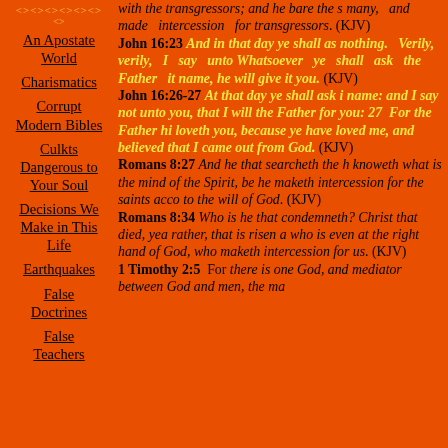An Apostate World
Charismatics
Corrupt Modern Bibles
Culkts Dangerous to Your Soul
Decisions We Make in This Life
Earthquakes
False Doctrines
False Teachers
with the transgressors; and he bare the s many, and made intercession for transgressors. (KJV) John 16:23 And in that day ye shall as nothing. Verily, verily, I say unto Whatsoever ye shall ask the Father it name, he will give it you. (KJV) John 16:26-27 At that day ye shall ask i name: and I say not unto you, that I will the Father for you: 27 For the Father hi loveth you, because ye have loved me, and believed that I came out from God. (KJV) Romans 8:27 And he that searcheth the h knoweth what is the mind of the Spirit, be he maketh intercession for the saints acco to the will of God. (KJV) Romans 8:34 Who is he that condemneth? Christ that died, yea rather, that is risen a who is even at the right hand of God, who maketh intercession for us. (KJV) 1 Timothy 2:5 For there is one God, and mediator between God and men, the ma